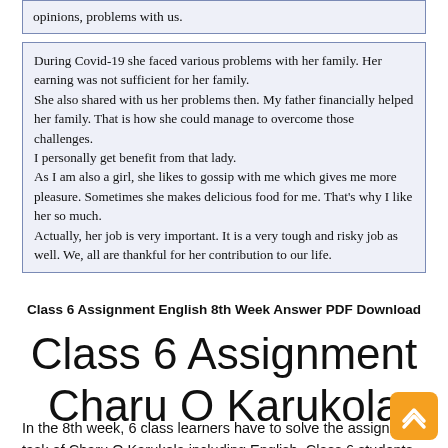opinions, problems with us.
During Covid-19 she faced various problems with her family. Her earning was not sufficient for her family.
She also shared with us her problems then. My father financially helped her family. That is how she could manage to overcome those challenges.
I personally get benefit from that lady.
As I am also a girl, she likes to gossip with me which gives me more pleasure. Sometimes she makes delicious food for me. That's why I like her so much.
Actually, her job is very important. It is a very tough and risky job as well. We, all are thankful for her contribution to our life.
Class 6 Assignment English 8th Week Answer PDF Download
Class 6 Assignment Charu O Karukola
In the 8th week, 6 class learners have to solve the assignment task of Charu O Karukola including English. Class 6 students can also collect